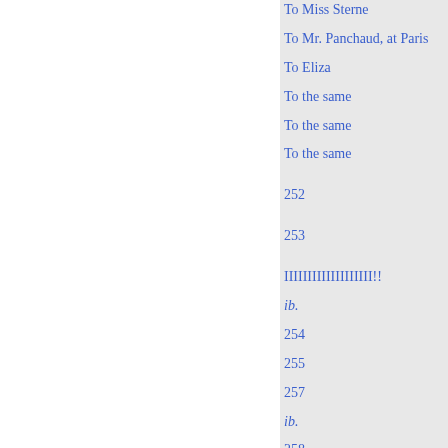To Miss Sterne
To Mr. Panchaud, at Paris
To Eliza
To the same
To the same
To the same
252
253
IIIIIIIIIIIIIIIIIII!!
ib.
254
255
257
ib.
258
260